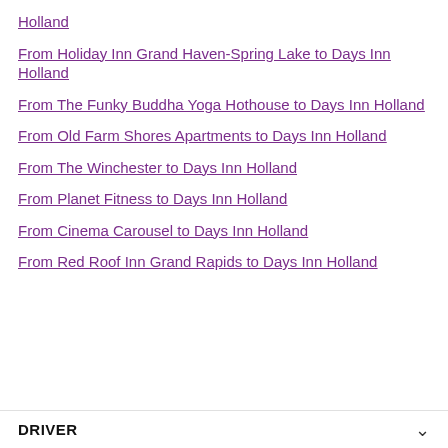Holland
From Holiday Inn Grand Haven-Spring Lake to Days Inn Holland
From The Funky Buddha Yoga Hothouse to Days Inn Holland
From Old Farm Shores Apartments to Days Inn Holland
From The Winchester to Days Inn Holland
From Planet Fitness to Days Inn Holland
From Cinema Carousel to Days Inn Holland
From Red Roof Inn Grand Rapids to Days Inn Holland
DRIVER